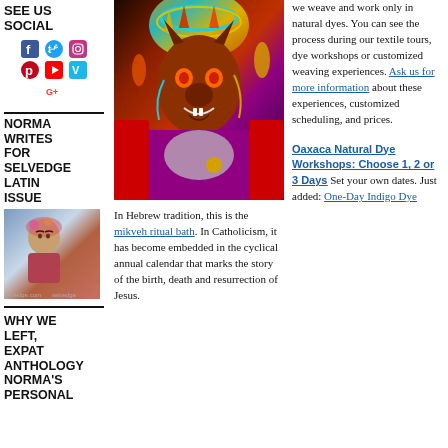SEE US SOCIAL
[Figure (infographic): Social media icons: Facebook, Twitter, Instagram, Pinterest, YouTube, Vimeo, Google+]
NORMA WRITES FOR SELVEDGE LATIN ISSUE
[Figure (photo): Portrait photo of a woman with flowers in her hair, resembling Frida Kahlo style, with 'selvedge.com' and 'selvedge' text overlay]
WHY WE LEFT, EXPAT ANTHOLOGY NORMA'S PERSONAL
[Figure (photo): Photo of a man wearing an elaborate colorful devil mask costume with headdress, red cape, and sequined purple chest piece at what appears to be a festival]
In Hebrew tradition, this is the mikveh ritual bath. In Catholicism, it has become embedded in the cyclical annual calendar that marks the story of the birth, death and resurrection of Jesus.
we weave and work only in natural dyes. You can see the process during our textile tours, dye workshops or customized weaving experiences. Ask us for more information about these experiences, customized scheduling, and prices.
Oaxaca Natural Dye Workshops: Choose 1, 2 or 3 Days Set your own dates. Just added: One-Day Indigo Dye